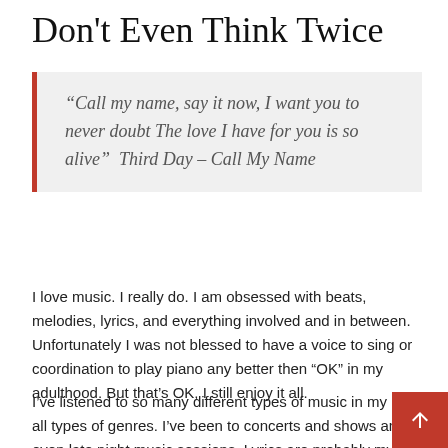Don't Even Think Twice
“Call my name, say it now, I want you to never doubt The love I have for you is so alive”  Third Day – Call My Name
I love music. I really do. I am obsessed with beats, melodies, lyrics, and everything involved and in between. Unfortunately I was not blessed to have a voice to sing or coordination to play piano any better then “OK” in my adulthood. But that’s OK, I still enjoy it all.
I’ve listened to so many different types of music in my life, all types of genres. I’ve been to concerts and shows and even late night music sessions. Lyrics are probably my